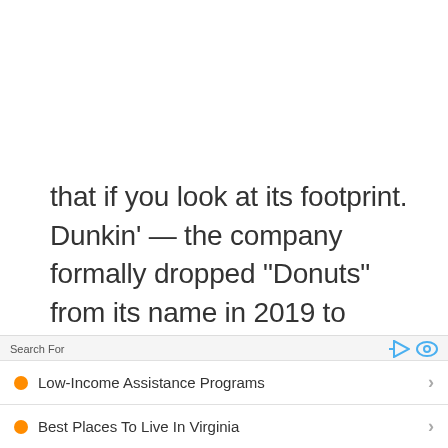that if you look at its footprint. Dunkin’ — the company formally dropped “Donuts” from its name in 2019 to appeal to more health-conscious consumers — has the highest number of locations in the most states compared with other large fast-food brands. However, unlike other major chains, it only has a presence in 40 of the 50 states. (This
Search For
Low-Income Assistance Programs
Best Places To Live In Virginia